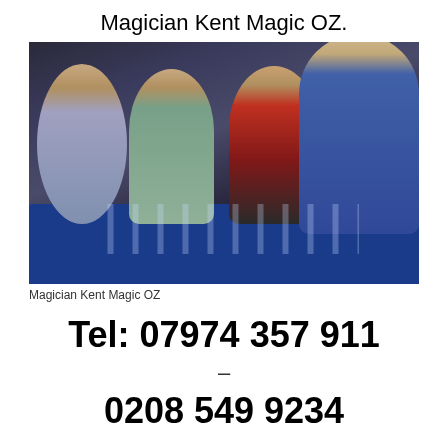Magician Kent Magic OZ.
[Figure (photo): A magician performing a close-up magic trick at a dinner table for three laughing guests. The scene is a restaurant or event venue with a blue tablecloth, wine glasses and food on the table. Three guests are seated and laughing, while the magician in a black suit leans over the table.]
Magician Kent Magic OZ
Tel: 07974 357 911
–
0208 549 9234